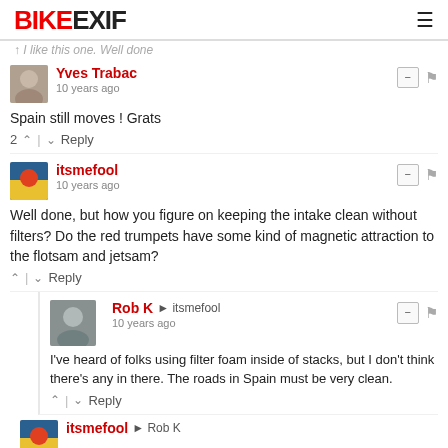BIKEEXIF
I like this one. Well done
Yves Trabac
10 years ago
Spain still moves ! Grats
2  Reply
itsmefool
10 years ago
Well done, but how you figure on keeping the intake clean without filters? Do the red trumpets have some kind of magnetic attraction to the flotsam and jetsam?
Reply
Rob K → itsmefool
10 years ago
I've heard of folks using filter foam inside of stacks, but I don't think there's any in there. The roads in Spain must be very clean.
Reply
itsmefool → Rob K